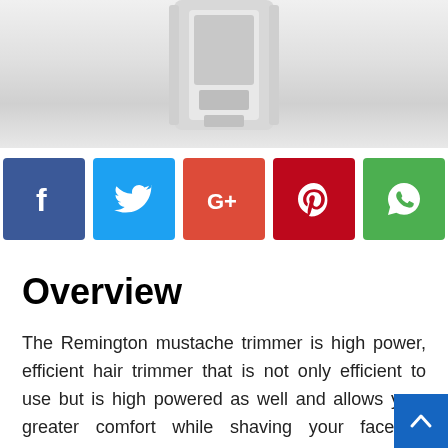[Figure (photo): Product image of Remington mustache trimmer, partially visible at top of page, gray/white tones]
[Figure (infographic): Row of five social media share buttons: Facebook (blue), Twitter (light blue), Google+ (orange-red), Pinterest (dark red), WhatsApp (green)]
Overview
The Remington mustache trimmer is high power, efficient hair trimmer that is not only efficient to use but is high powered as well and allows your greater comfort while shaving your face. It provides you greater shaving ideas and lengths and makes it easier for you to try different beard styles without the need to go to a facial hair expert.